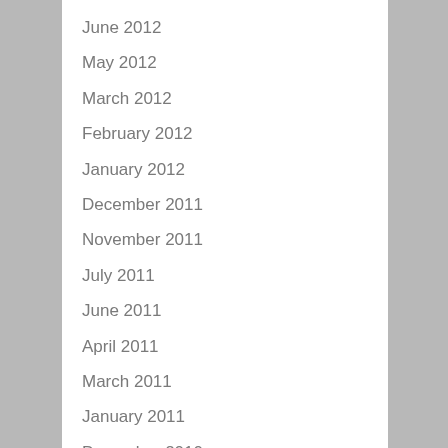June 2012
May 2012
March 2012
February 2012
January 2012
December 2011
November 2011
July 2011
June 2011
April 2011
March 2011
January 2011
December 2010
September 2010
June 2010